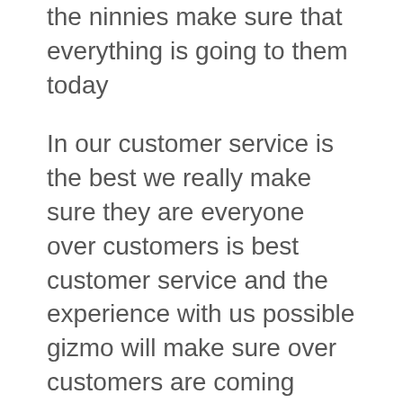the ninnies make sure that everything is going to them today
In our customer service is the best we really make sure they are everyone over customers is best customer service and the experience with us possible gizmo will make sure over customers are coming interleaving happy with what we did with them in the house is with the Windows it would longhouses and we always missionary generic whenever customers has access to talking to us with our 806-803-9060 over the also don't look at all Sasso have veteranhomeexterior.com we make sure